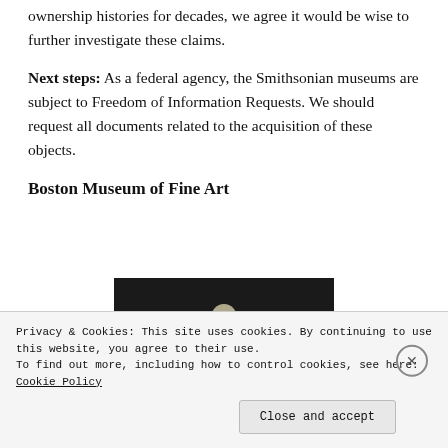ownership histories for decades, we agree it would be wise to further investigate these claims.
Next steps: As a federal agency, the Smithsonian museums are subject to Freedom of Information Requests. We should request all documents related to the acquisition of these objects.
Boston Museum of Fine Art
[Figure (photo): Museum artifact — small stone or ceramic figurine with face visible, photographed against dark background]
Privacy & Cookies: This site uses cookies. By continuing to use this website, you agree to their use.
To find out more, including how to control cookies, see here: Cookie Policy
Close and accept